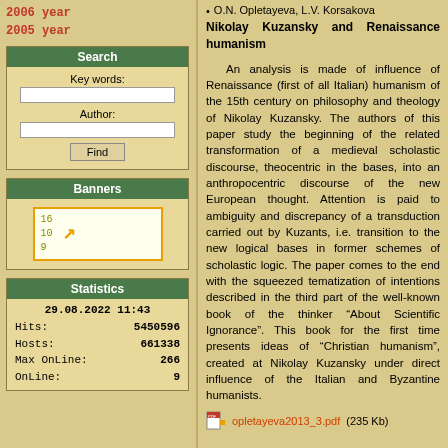2006 year
2005 year
Search
Key words:
Author:
Banners
Statistics
29.08.2022 11:43
Hits: 5450596
Hosts: 661338
Max OnLine: 266
OnLine: 9
O.N. Opletayeva, L.V. Korsakova
Nikolay Kuzansky and Renaissance humanism
An analysis is made of influence of Renaissance (first of all Italian) humanism of the 15th century on philosophy and theology of Nikolay Kuzansky. The authors of this paper study the beginning of the related transformation of a medieval scholastic discourse, theocentric in the bases, into an anthropocentric discourse of the new European thought. Attention is paid to ambiguity and discrepancy of a transduction carried out by Kuzants, i.e. transition to the new logical bases in former schemes of scholastic logic. The paper comes to the end with the squeezed tematization of intentions described in the third part of the well-known book of the thinker “About Scientific Ignorance”. This book for the first time presents ideas of “Christian humanism”, created at Nikolay Kuzansky under direct influence of the Italian and Byzantine humanists.
opletayeva2013_3.pdf (235 Kb)